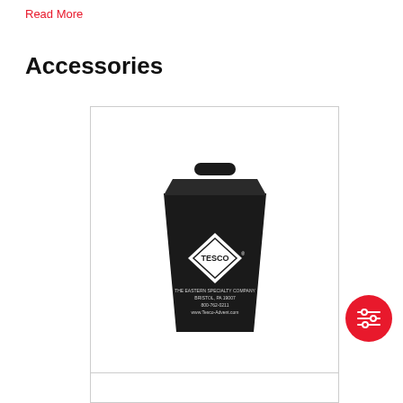Read More
Accessories
[Figure (photo): Black TESCO branded carrying case/bag with handle, trapezoid shape, showing TESCO logo diamond, 'THE EASTERN SPECIALTY COMPANY BRISTOL, PA 19007 800-762-0211 www.Tesco-Advent.com']
Carrying Case